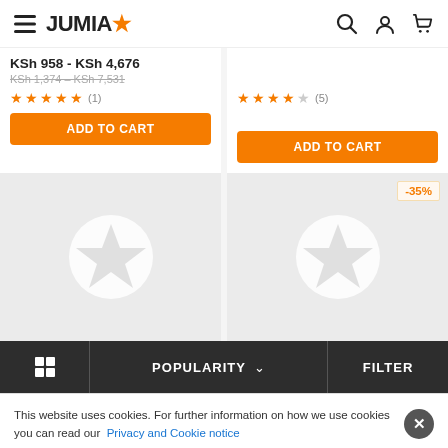JUMIA (logo with star icon), search, account, cart icons
KSh 958 - KSh 4,676
KSh 1,374 – KSh 7,531 (strikethrough)
★★★★★ (1)
ADD TO CART
★★★★½ (5)
ADD TO CART
[Figure (other): Product thumbnail placeholder with Jumia star icon, no discount]
[Figure (other): Product thumbnail placeholder with Jumia star icon, -35% discount badge]
POPULARITY ∨  FILTER
This website uses cookies. For further information on how we use cookies you can read our Privacy and Cookie notice